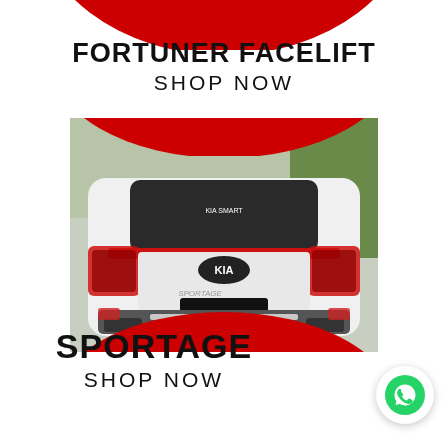[Figure (photo): Top red circle arc decorative element partially visible at top of page]
FORTUNER FACELIFT
SHOP NOW
[Figure (photo): Rear view of a white KIA Sportage SUV parked outdoors, showing KIA badge, red tail lights, and aftermarket rear bumper diffuser. The image is framed by red circular decorative arcs at top and bottom.]
SPORTAGE
SHOP NOW
[Figure (logo): WhatsApp logo icon in green on a white circular button, positioned bottom right]